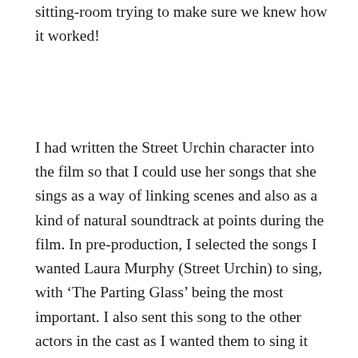sitting-room trying to make sure we knew how it worked!
I had written the Street Urchin character into the film so that I could use her songs that she sings as a way of linking scenes and also as a kind of natural soundtrack at points during the film. In pre-production, I selected the songs I wanted Laura Murphy (Street Urchin) to sing, with ‘The Parting Glass’ being the most important. I also sent this song to the other actors in the cast as I wanted them to sing it with her in the final part of the film.